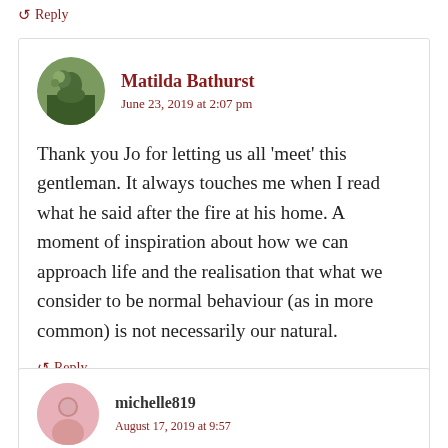↺ Reply
Matilda Bathurst
June 23, 2019 at 2:07 pm
Thank you Jo for letting us all 'meet' this gentleman. It always touches me when I read what he said after the fire at his home. A moment of inspiration about how we can approach life and the realisation that what we consider to be normal behaviour (as in more common) is not necessarily our natural.
↺ Reply
michelle819
August 17, 2019 at 9:57